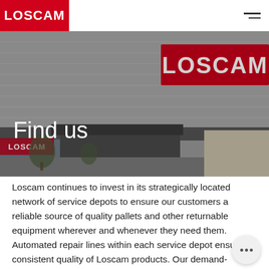[Figure (logo): Loscam logo — white text on red background in top-left header]
[Figure (photo): Photograph of a Loscam warehouse/service depot building exterior with a large red Loscam sign on the facade. Overlaid white text reads 'Find us'.]
Loscam continues to invest in its strategically located network of service depots to ensure our customers a reliable source of quality pallets and other returnable equipment wherever and whenever they need them. Automated repair lines within each service depot ensure consistent quality of Loscam products. Our demand-planning systems enable us to anticipate market